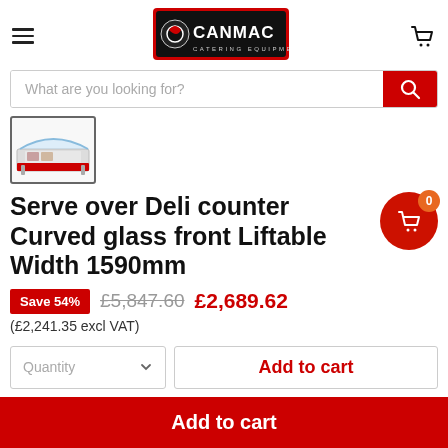[Figure (logo): CANMAC Catering Equipment Supplier logo – red and black banner with company name]
What are you looking for?
[Figure (photo): Thumbnail photo of a serve-over deli counter with curved glass front, red base trim]
Serve over Deli counter Curved glass front Liftable Width 1590mm
Save 54%  £5,847.60  £2,689.62
(£2,241.35 excl VAT)
Quantity
Add to cart
Add to cart